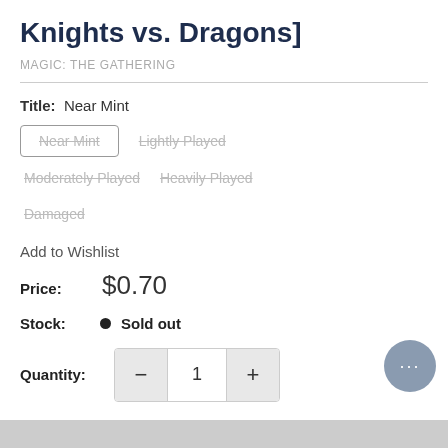Knights vs. Dragons]
MAGIC: THE GATHERING
Title:  Near Mint
Near Mint
Lightly Played
Moderately Played
Heavily Played
Damaged
Add to Wishlist
Price:  $0.70
Stock:  Sold out
Quantity:  1